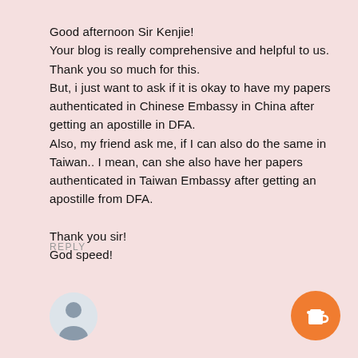Good afternoon Sir Kenjie!
Your blog is really comprehensive and helpful to us.
Thank you so much for this.
But, i just want to ask if it is okay to have my papers authenticated in Chinese Embassy in China after getting an apostille in DFA.
Also, my friend ask me, if I can also do the same in Taiwan.. I mean, can she also have her papers authenticated in Taiwan Embassy after getting an apostille from DFA.

Thank you sir!
God speed!
REPLY
[Figure (illustration): Small circular avatar showing a silhouette of a person in gray tones]
[Figure (illustration): Orange circular button with a white take-away coffee cup icon]